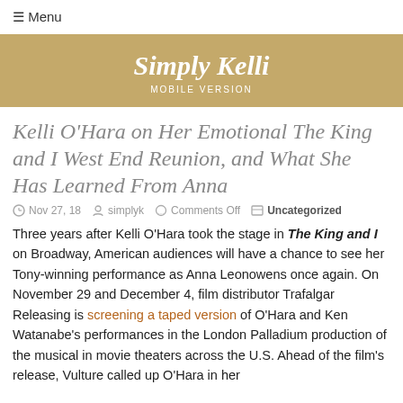☰ Menu
Simply Kelli
MOBILE VERSION
Kelli O'Hara on Her Emotional The King and I West End Reunion, and What She Has Learned From Anna
Nov 27, 18   simplyk   Comments Off   Uncategorized
Three years after Kelli O'Hara took the stage in The King and I on Broadway, American audiences will have a chance to see her Tony-winning performance as Anna Leonowens once again. On November 29 and December 4, film distributor Trafalgar Releasing is screening a taped version of O'Hara and Ken Watanabe's performances in the London Palladium production of the musical in movie theaters across the U.S. Ahead of the film's release, Vulture called up O'Hara in her